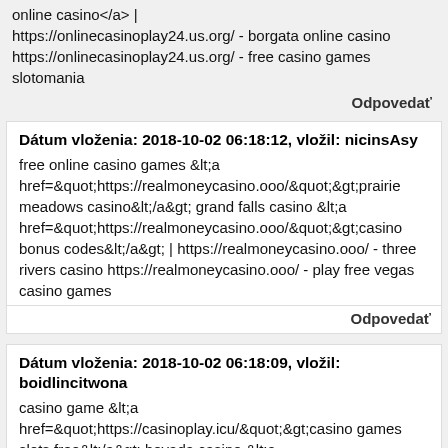online casino&lt;/a&gt; | https://onlinecasinoplay24.us.org/ - borgata online casino https://onlinecasinoplay24.us.org/ - free casino games slotomania
Odpovedať
Dátum vloženia: 2018-10-02 06:18:12, vložil: nicinsAsy
free online casino games &lt;a href=&quot;https://realmoneycasino.ooo/&quot;&gt;prairie meadows casino&lt;/a&gt; grand falls casino &lt;a href=&quot;https://realmoneycasino.ooo/&quot;&gt;casino bonus codes&lt;/a&gt; | https://realmoneycasino.ooo/ - three rivers casino https://realmoneycasino.ooo/ - play free vegas casino games
Odpovedať
Dátum vloženia: 2018-10-02 06:18:09, vložil: boidlincitwona
casino game &lt;a href=&quot;https://casinoplay.icu/&quot;&gt;casino games slots free&lt;/a&gt; bovada casino &lt;a href=&quot;https://casinoplay.icu/&quot;&gt;casino real money&lt;/a&gt; | https://casinoplay.icu/ - double u casino https://casinoplay.icu/ - foxwoods casino online